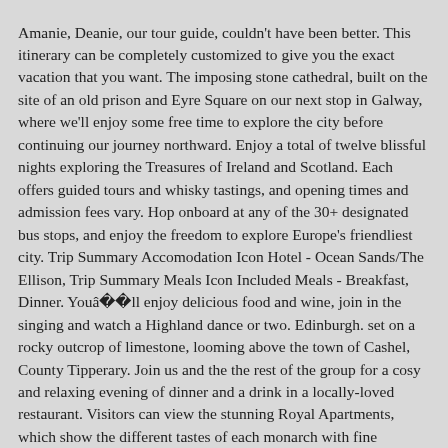Amanie, Deanie, our tour guide, couldn't have been better. This itinerary can be completely customized to give you the exact vacation that you want. The imposing stone cathedral, built on the site of an old prison and Eyre Square on our next stop in Galway, where we'll enjoy some free time to explore the city before continuing our journey northward. Enjoy a total of twelve blissful nights exploring the Treasures of Ireland and Scotland. Each offers guided tours and whisky tastings, and opening times and admission fees vary. Hop onboard at any of the 30+ designated bus stops, and enjoy the freedom to explore Europe's friendliest city. Trip Summary Accomodation Icon Hotel - Ocean Sands/The Ellison, Trip Summary Meals Icon Included Meals - Breakfast, Dinner. Youâ  ll enjoy delicious food and wine, join in the singing and watch a Highland dance or two. Edinburgh. set on a rocky outcrop of limestone, looming above the town of Cashel, County Tipperary. Join us and the the rest of the group for a cosy and relaxing evening of dinner and a drink in a locally-loved restaurant. Visitors can view the stunning Royal Apartments, which show the different tastes of each monarch with fine plasterwork ceilings and decadent furnishings. With a backdrop of oak-clad mountains, enjoy taking in the towering azaleas and rhododendrons as you meander along the shores of the lakes. Standing more than six and a half feet tall, he was a veritable giant in a